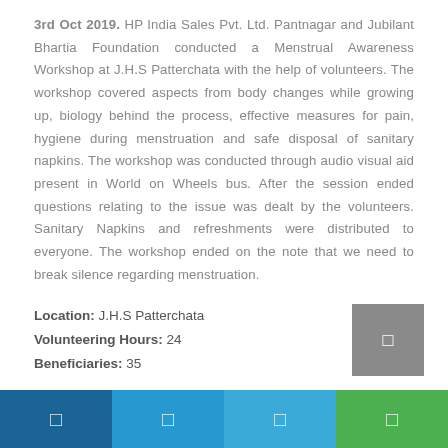3rd Oct 2019. HP India Sales Pvt. Ltd. Pantnagar and Jubilant Bhartia Foundation conducted a Menstrual Awareness Workshop at J.H.S Patterchata with the help of volunteers. The workshop covered aspects from body changes while growing up, biology behind the process, effective measures for pain, hygiene during menstruation and safe disposal of sanitary napkins. The workshop was conducted through audio visual aid present in World on Wheels bus. After the session ended questions relating to the issue was dealt by the volunteers. Sanitary Napkins and refreshments were distributed to everyone. The workshop ended on the note that we need to break silence regarding menstruation.
Location: J.H.S Patterchata
Volunteering Hours: 24
Beneficiaries: 35